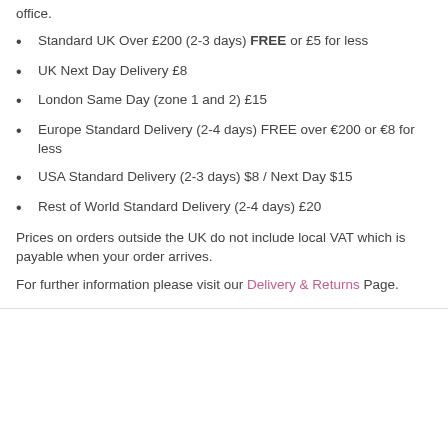office.
Standard UK Over £200 (2-3 days) FREE or £5 for less
UK Next Day Delivery £8
London Same Day (zone 1 and 2) £15
Europe Standard Delivery (2-4 days) FREE over €200 or €8 for less
USA Standard Delivery (2-3 days) $8 / Next Day $15
Rest of World Standard Delivery (2-4 days) £20
Prices on orders outside the UK do not include local VAT which is payable when your order arrives.
For further information please visit our Delivery & Returns Page.